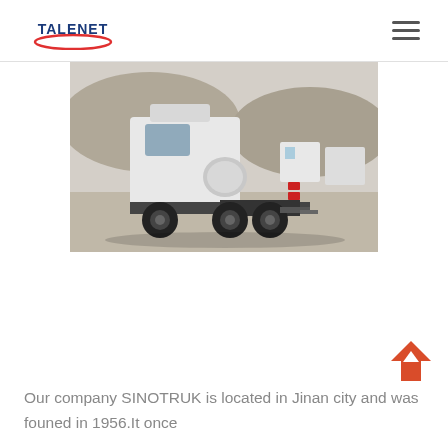TALENET
[Figure (photo): Rear/side view of a white SINOTRUK/HOWO heavy-duty semi-truck tractor in a truck yard, with more trucks visible in the background.]
Our company SINOTRUK is located in Jinan city and was founed in 1956.It once